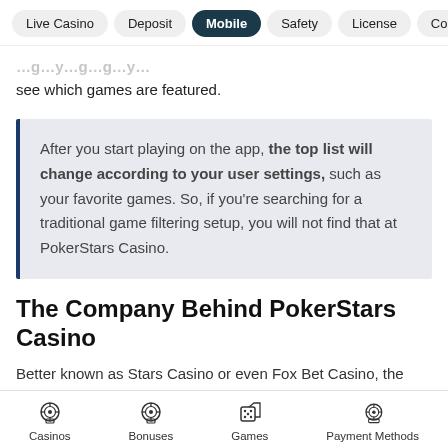Live Casino | Deposit | Mobile | Safety | License | Conclu…
…g…y…g…go… see which games are featured.
After you start playing on the app, the top list will change according to your user settings, such as your favorite games. So, if you're searching for a traditional game filtering setup, you will not find that at PokerStars Casino.
The Company Behind PokerStars Casino
Better known as Stars Casino or even Fox Bet Casino, the PokerStars casino has undergone many structural changes
Casinos | Bonuses | Games | Payment Methods